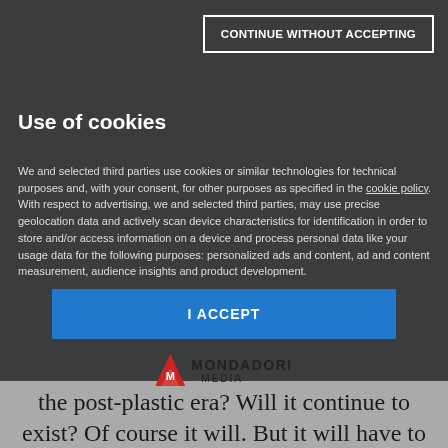CONTINUE WITHOUT ACCEPTING
Use of cookies
We and selected third parties use cookies or similar technologies for technical purposes and, with your consent, for other purposes as specified in the cookie policy.
With respect to advertising, we and selected third parties, may use precise geolocation data and actively scan device characteristics for identification in order to store and/or access information on a device and process personal data like your usage data for the following purposes: personalized ads and content, ad and content measurement, audience insights and product development.
I ACCEPT
CUSTOMIZE
[Figure (logo): Mondadori Media logo with red triangle/M icon and text MONDADORI MEDIA]
the post-plastic era? Will it continue to exist? Of course it will. But it will have to